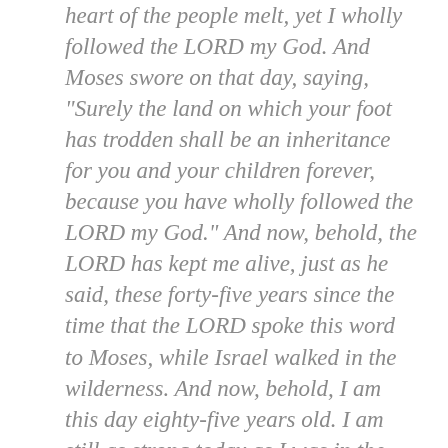heart of the people melt, yet I wholly followed the LORD my God. And Moses swore on that day, saying, "Surely the land on which your foot has trodden shall be an inheritance for you and your children forever, because you have wholly followed the LORD my God." And now, behold, the LORD has kept me alive, just as he said, these forty-five years since the time that the LORD spoke this word to Moses, while Israel walked in the wilderness. And now, behold, I am this day eighty-five years old. I am still as strong today as I was in the day that Moses sent me; my strength now is as my strength was then, for war and for going and coming. So now give me this hill country of which the LORD spoke on that day, for you heard on that day how the Anakim were there, with great fortified cities. It may be that the LORD will be with me, and